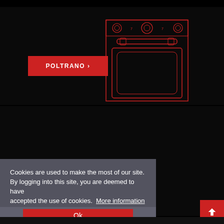[Figure (illustration): Dark background panel showing a red line-art oven/stove diagram on the right side, with a red 'POLTRANO >' button on the left side.]
[Figure (illustration): Dark background panel showing a red line-art decorative oven diagram on the right side, with a partially visible 'VALSS >' button on the left side, partially obscured by cookie consent overlay.]
Cookies are used to make the most of our site. By logging into this site, you are deemed to have accepted the use of cookies. More information
Ok